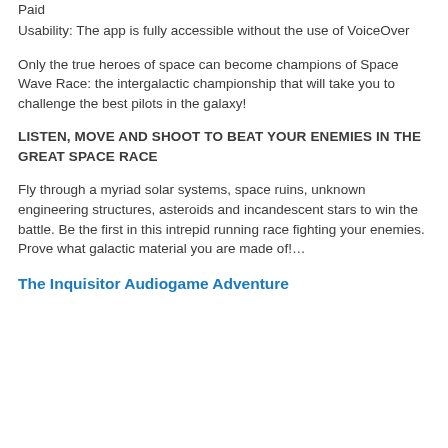Paid
Usability: The app is fully accessible without the use of VoiceOver
Only the true heroes of space can become champions of Space Wave Race: the intergalactic championship that will take you to challenge the best pilots in the galaxy!
LISTEN, MOVE AND SHOOT TO BEAT YOUR ENEMIES IN THE GREAT SPACE RACE
Fly through a myriad solar systems, space ruins, unknown engineering structures, asteroids and incandescent stars to win the battle. Be the first in this intrepid running race fighting your enemies. Prove what galactic material you are made of!…
The Inquisitor Audiogame Adventure